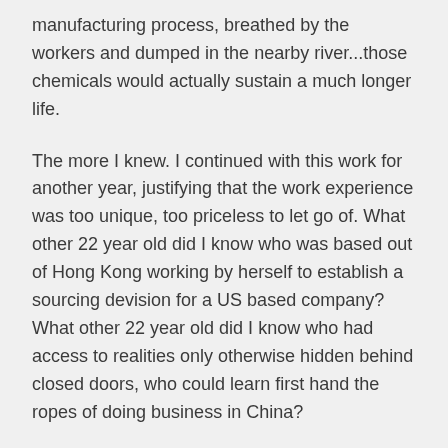manufacturing process, breathed by the workers and dumped in the nearby river...those chemicals would actually sustain a much longer life.
The more I knew. I continued with this work for another year, justifying that the work experience was too unique, too priceless to let go of. What other 22 year old did I know who was based out of Hong Kong working by herself to establish a sourcing devision for a US based company?  What other 22 year old did I know who had access to realities only otherwise hidden behind closed doors, who could learn first hand the ropes of doing business in China?
None. I knew that I had a team in the USA that was trying to sell products to our clients and needed factories to do so. I knew I had a team in China who was